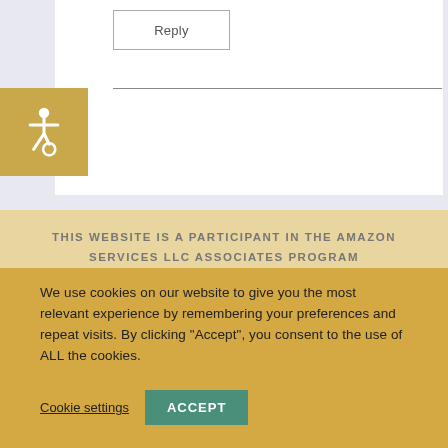[Figure (screenshot): Reply button inside a white content box on a light lavender background]
[Figure (logo): Accessibility wheelchair icon in a golden/tan square badge on the left side]
THIS WEBSITE IS A PARTICIPANT IN THE AMAZON SERVICES LLC ASSOCIATES PROGRAM
We use cookies on our website to give you the most relevant experience by remembering your preferences and repeat visits. By clicking "Accept", you consent to the use of ALL the cookies.
Cookie settings
ACCEPT